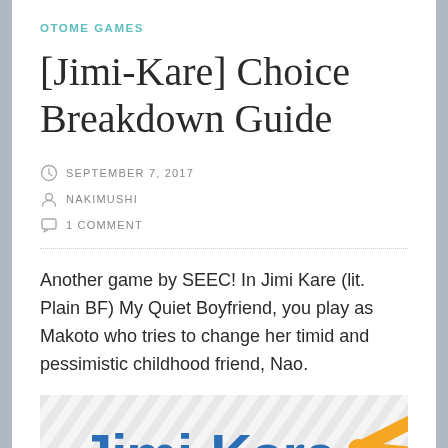OTOME GAMES
[Jimi-Kare] Choice Breakdown Guide
SEPTEMBER 7, 2017
NAKIMUSHI
1 COMMENT
Another game by SEEC! In Jimi Kare (lit. Plain BF) My Quiet Boyfriend, you play as Makoto who tries to change her timid and pessimistic childhood friend, Nao.
[Figure (logo): Jimi-Kare logo with stylized text in blue and yellow/orange starburst rays on a diagonal striped background]